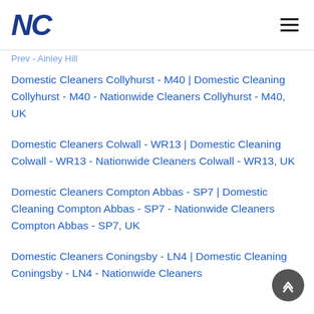NC (Nationwide Cleaners logo)
Prev - Ainley Hill
Domestic Cleaners Collyhurst - M40 | Domestic Cleaning Collyhurst - M40 - Nationwide Cleaners Collyhurst - M40, UK
Domestic Cleaners Colwall - WR13 | Domestic Cleaning Colwall - WR13 - Nationwide Cleaners Colwall - WR13, UK
Domestic Cleaners Compton Abbas - SP7 | Domestic Cleaning Compton Abbas - SP7 - Nationwide Cleaners Compton Abbas - SP7, UK
Domestic Cleaners Coningsby - LN4 | Domestic Cleaning Coningsby - LN4 - Nationwide Cleaners